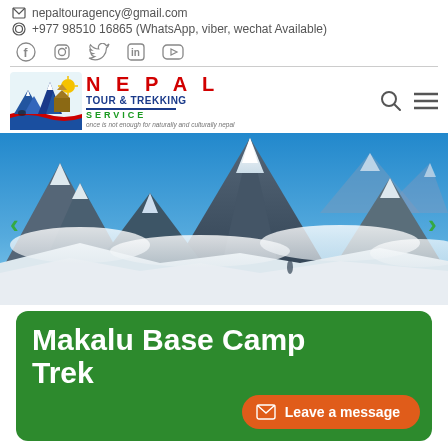✉ nepaltouragency@gmail.com
⊕ +977 98510 16865 (WhatsApp, viber, wechat Available)
[Figure (other): Social media icons: Facebook, Instagram, Twitter, LinkedIn, YouTube]
[Figure (logo): Nepal Tour & Trekking Service logo with mountain illustration and tagline: once is not enough for naturally and culturally nepal]
[Figure (photo): Full-width panoramic photo of snow-capped Himalayan mountains with blue sky and clouds]
Makalu Base Camp Trek
Leave a message